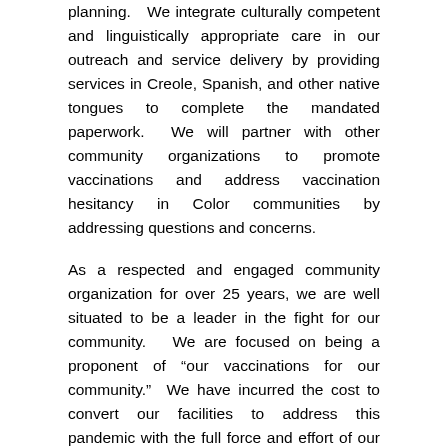planning.  We integrate culturally competent and linguistically appropriate care in our outreach and service delivery by providing services in Creole, Spanish, and other native tongues to complete the mandated paperwork.  We will partner with other community organizations to promote vaccinations and address vaccination hesitancy in Color communities by addressing questions and concerns.
As a respected and engaged community organization for over 25 years, we are well situated to be a leader in the fight for our community.  We are focused on being a proponent of “our vaccinations for our community.”  We have incurred the cost to convert our facilities to address this pandemic with the full force and effort of our combined cultural history as shown us we can.
For more information about The Center for Rapid Recovery, Inc and the plethora of products offered, please visit – https://www.rapidrecovery.org